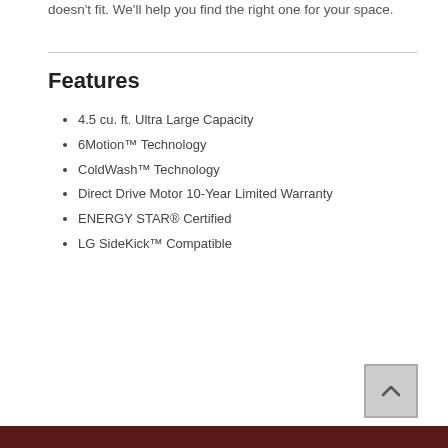doesn't fit. We'll help you find the right one for your space.
Features
4.5 cu. ft. Ultra Large Capacity
6Motion™ Technology
ColdWash™ Technology
Direct Drive Motor 10-Year Limited Warranty
ENERGY STAR® Certified
LG SideKick™ Compatible